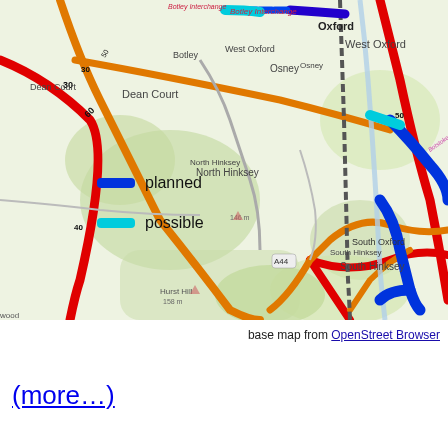[Figure (map): Road map of Oxford area showing planned (blue) and possible (cyan) routes overlaid on OpenStreetMap base. Shows locations including Oxford, Botley, West Oxford, Osney, North Hinksey, South Oxford, South Hinksey, Dean Court, Hurst Hill, Pickett's Hill, Bagley Wood, Kennington. Roads shown in red, orange, and other colors with speed/route numbers. Legend shows 'planned' in blue and 'possible' in cyan.]
base map from OpenStreet Browser
(more…)